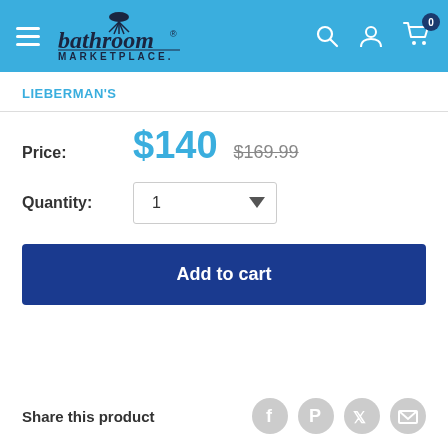Bathroom Marketplace
LIEBERMAN'S
Price: $140  $169.99
Quantity: 1
Add to cart
Share this product